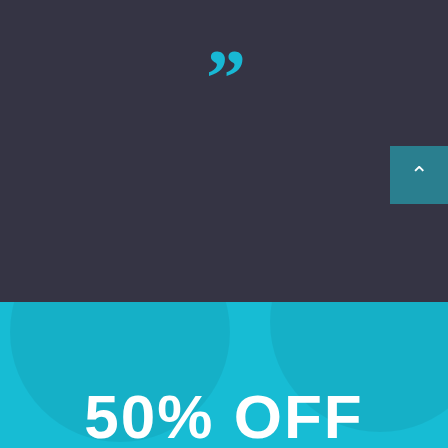[Figure (illustration): Dark navy/charcoal background section with large cyan/teal closing double quotation marks centered near the top]
50% OFF
[Figure (illustration): Cyan/teal background section with large decorative circle shapes and '50% OFF' text in white bold letters at the bottom. A dark teal scroll-to-top button with an up arrow chevron is visible at the right edge.]